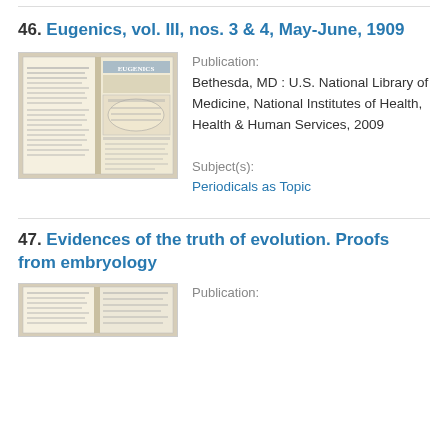46. Eugenics, vol. III, nos. 3 & 4, May-June, 1909
[Figure (photo): Open book showing the Eugenics magazine cover and inside pages]
Publication: Bethesda, MD : U.S. National Library of Medicine, National Institutes of Health, Health & Human Services, 2009
Subject(s): Periodicals as Topic
47. Evidences of the truth of evolution. Proofs from embryology
[Figure (photo): Partial view of an open book cover]
Publication: